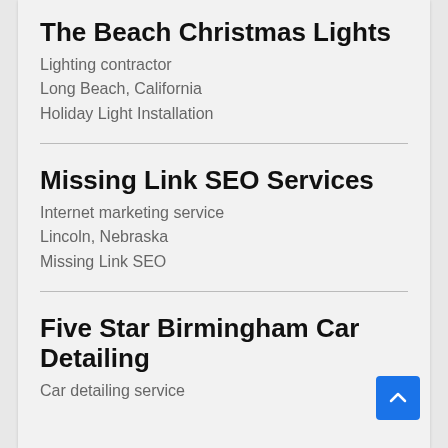The Beach Christmas Lights
Lighting contractor
Long Beach, California
Holiday Light Installation
Missing Link SEO Services
Internet marketing service
Lincoln, Nebraska
Missing Link SEO
Five Star Birmingham Car Detailing
Car detailing service